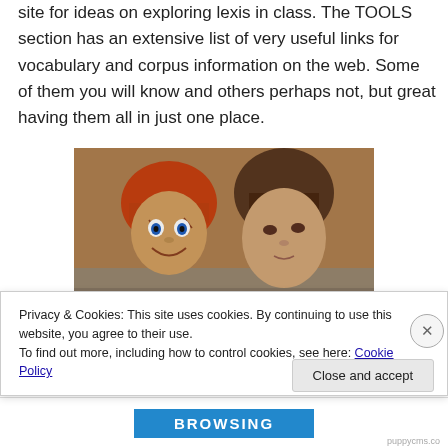site for ideas on exploring lexis in class. The TOOLS section has an extensive list of very useful links for vocabulary and corpus information on the web. Some of them you will know and others perhaps not, but great having them all in just one place.
[Figure (photo): A horror movie still showing Chucky the doll and a young girl lying together under a blanket]
Privacy & Cookies: This site uses cookies. By continuing to use this website, you agree to their use.
To find out more, including how to control cookies, see here: Cookie Policy
Close and accept
BROWSING